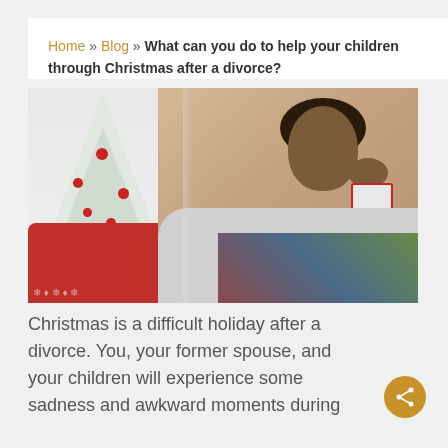Home » Blog » What can you do to help your children through Christmas after a divorce?
[Figure (photo): A woman in a Christmas sweater sitting on a couch, leaning her head on her hand holding a mug, with a white Christmas tree decorated with red ornaments in the background.]
Christmas is a difficult holiday after a divorce. You, your former spouse, and your children will experience some sadness and awkward moments during